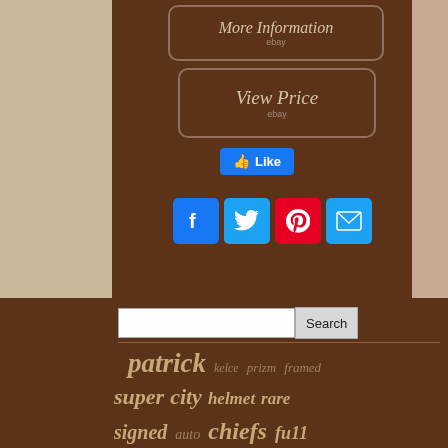[Figure (screenshot): Button labeled 'More Information' with 'ebay' subtitle on brown background with rounded border]
[Figure (screenshot): Button labeled 'View Price' with 'ebay' subtitle on brown background with rounded border]
[Figure (screenshot): Facebook Like button (blue)]
[Figure (screenshot): Social media sharing icons: Facebook, Twitter, Pinterest, Email]
[Figure (screenshot): Search bar with text input and Search button]
patrick  kelce  prizm  framed  super  city  helmet  rare  signed  auto  chiefs  full